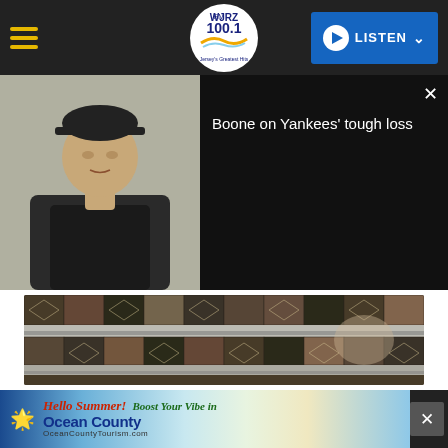WJRZ 100.1 FM - Jersey's Greatest Hits | Navigation bar with hamburger menu, logo, and LISTEN button
[Figure (screenshot): Video overlay showing a man in a black baseball cap seated in a chair, with text 'Boone on Yankees' tough loss' on dark background, and a close button (×)]
[Figure (photo): Close-up photo of a patterned sweater/knit fabric with geometric designs in dark olive, maroon, and cream colors]
ChameleonsEye // Shutterstock
[Figure (infographic): Advertisement banner: 'Hello Summer! Boost Your Vibe in Ocean County - OceanCountyTourism.com' with beach imagery and starfish]